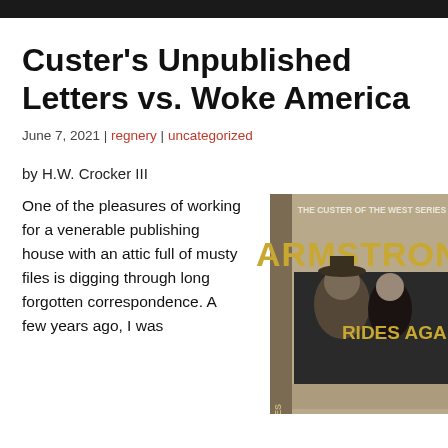Custer's Unpublished Letters vs. Woke America
June 7, 2021 | regnery | uncategorized
by H.W. Crocker III
One of the pleasures of working for a venerable publishing house with an attic full of musty files is digging through long forgotten correspondence. A few years ago, I was
[Figure (photo): Book cover of 'Armstrong Rides Again!' from The Custer of the West Series, showing a man in a cowboy hat and a woman in dark clothing, with bold yellow text.]